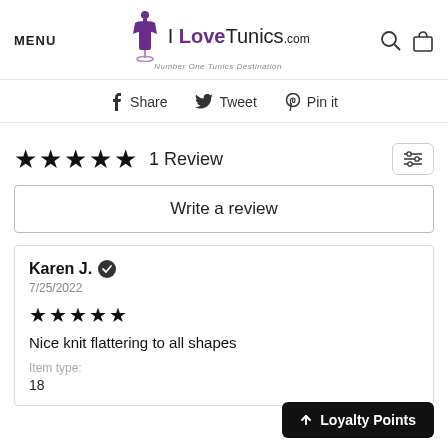MENU | I LoveTunics.com — Number One Tunics Destination
Share | Tweet | Pin it
★★★★★ 1 Review
Write a review
Karen J. ✔
7/25/2022
★★★★★
Nice knit flattering to all shapes
Item type:
18